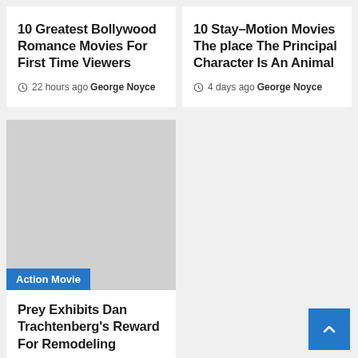10 Greatest Bollywood Romance Movies For First Time Viewers
22 hours ago  George Noyce
10 Stay–Motion Movies The place The Principal Character Is An Animal
4 days ago  George Noyce
[Figure (photo): Gray image placeholder with 'Action Movie' badge overlay at bottom left]
Prey Exhibits Dan Trachtenberg's Reward For Remodeling